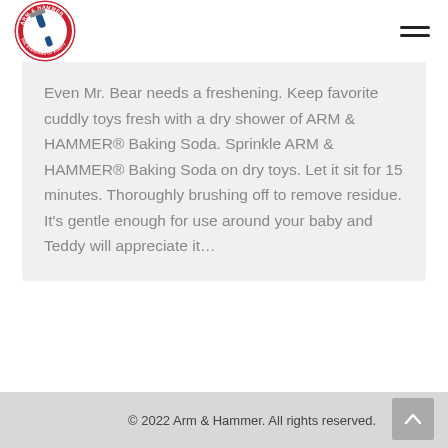[Figure (logo): Arm & Hammer circular red logo with arm and hammer icon and text 'THE STANDARD OF PURITY']
Even Mr. Bear needs a freshening. Keep favorite cuddly toys fresh with a dry shower of ARM & HAMMER® Baking Soda. Sprinkle ARM & HAMMER® Baking Soda on dry toys. Let it sit for 15 minutes. Thoroughly brushing off to remove residue. It's gentle enough for use around your baby and Teddy will appreciate it…
© 2022 Arm & Hammer. All rights reserved.